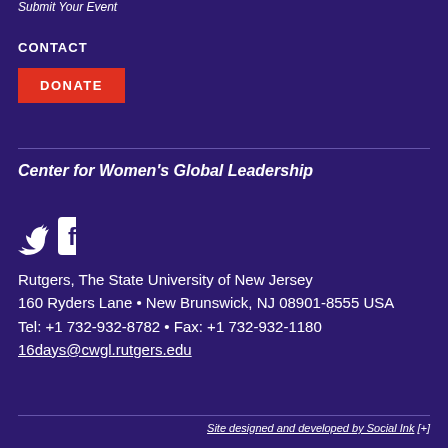Submit Your Event
CONTACT
DONATE
Center for Women's Global Leadership
[Figure (illustration): Twitter and Facebook social media icons in white on dark purple background]
Rutgers, The State University of New Jersey
160 Ryders Lane • New Brunswick, NJ 08901-8555 USA
Tel: +1 732-932-8782 • Fax: +1 732-932-1180
16days@cwgl.rutgers.edu
Site designed and developed by Social Ink [+]